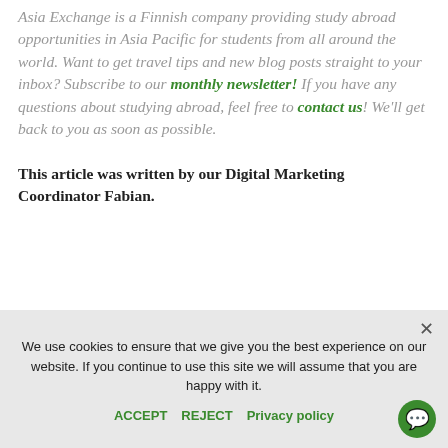Asia Exchange is a Finnish company providing study abroad opportunities in Asia Pacific for students from all around the world. Want to get travel tips and new blog posts straight to your inbox? Subscribe to our monthly newsletter! If you have any questions about studying abroad, feel free to contact us! We'll get back to you as soon as possible.
This article was written by our Digital Marketing Coordinator Fabian.
We use cookies to ensure that we give you the best experience on our website. If you continue to use this site we will assume that you are happy with it.